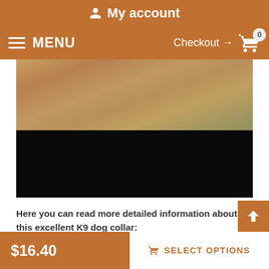My account
MENU  Checkout → 0
[Figure (photo): Photo of a dog (golden/tan fur visible at top), with lower portion blacked out. Product image for K9 dog collar.]
Here you can read more detailed information about this excellent K9 dog collar:

This canine collar is famous for its durability. We use only 100% full grain genuine leather which will not probably tear through many years and will serve you for a long time. It is a very comfortable dog supply for training and safe walking because the leather is very soft and pleasant to the touch. It doesn't ru
$16.40  SELECT OPTIONS